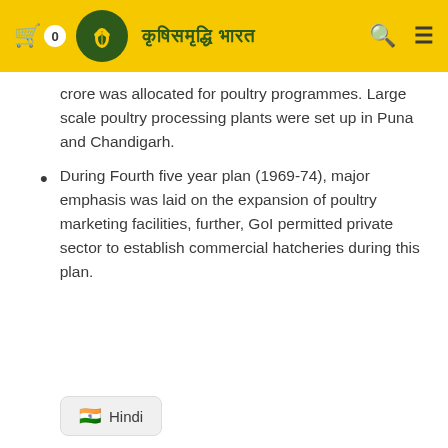🛒 0  [logo] कृषिसमृद्धि भारत  🔍 ☰
crore was allocated for poultry programmes. Large scale poultry processing plants were set up in Puna and Chandigarh.
During Fourth five year plan (1969-74), major emphasis was laid on the expansion of poultry marketing facilities, further, GoI permitted private sector to establish commercial hatcheries during this plan.
Hindi